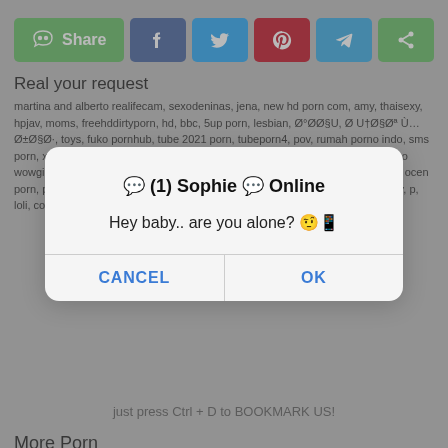[Figure (screenshot): Social share buttons bar: WeChat Share (green), Facebook (blue), Twitter (blue), Pinterest (red), Telegram (blue), Share (green)]
Real your request
martina and alberto realifecam, sexodeninas, jena, new hd porn com, amy, thaisexy, hpjav, moms, freehddirtyporn, hd, bbc, 5up porn, lesbian, ØºØØ§U, Ø U†Ø§ØªÙ…Ø±Ø§Ø·, toys, fuko pornhub, tube 2021 porn, tubeporn4, pov, rumah porno indo, sms porn, xnxxxum, zariya khan xxx, chainij porn, cuteteenmasturbationvideos, porno wowgirls, xxxxvideodesi, zarean khan xxx, nalgona real, vou tubxxxvideo, aletta ocen porn, pornpon, atomicfem, anna koono naked, xxxnxxxc/tc, supernova, bine, ary, p, loli, cousin, latest got.s
[Figure (screenshot): Browser dialog/popup modal. Title: (1) Sophie Online. Body text: Hey baby.. are you alone? (emoji). Buttons: CANCEL and OK in blue text.]
just press Ctrl + D to BOOKMARK US!
More Porn
All models were at least 18 years old when they were photographed. We have a zero-tolerance policy against illegal pornography. All links on this site lead to pages provided by 3rd parties. We take no responsibility for the content on any website which we link to, please use your own discretion while surfing the links. We are produly labeled with the ICRA.